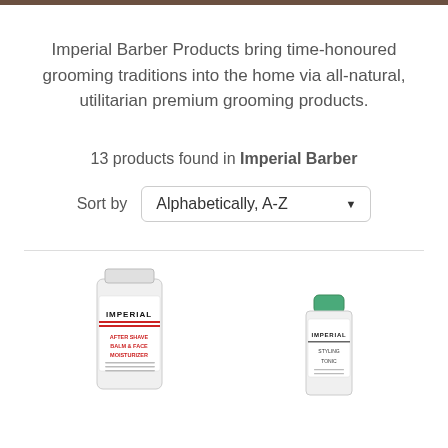Imperial Barber Products bring time-honoured grooming traditions into the home via all-natural, utilitarian premium grooming products.
13 products found in Imperial Barber
Sort by  Alphabetically, A-Z
[Figure (photo): Two Imperial Barber product bottles partially visible at the bottom of the page]